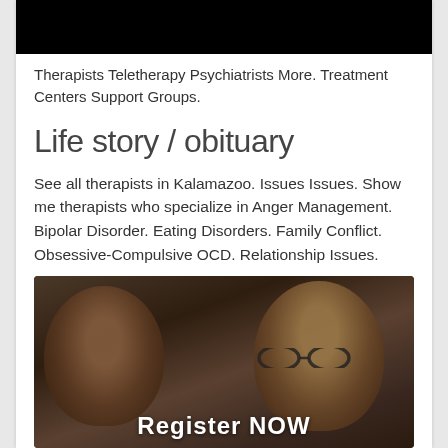[Figure (photo): Black bar at top of page, cropped image]
Therapists Teletherapy Psychiatrists More. Treatment Centers Support Groups.
Life story / obituary
See all therapists in Kalamazoo. Issues Issues. Show me therapists who specialize in Anger Management. Bipolar Disorder. Eating Disorders. Family Conflict. Obsessive-Compulsive OCD. Relationship Issues.
[Figure (photo): Two people faces close-up in dark tones with glasses visible, with text 'Register NOW' at bottom]